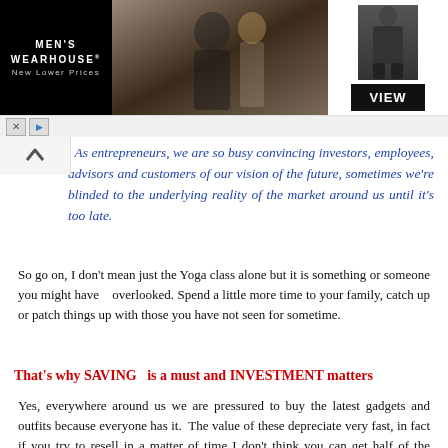[Figure (illustration): Men's Wearhouse advertisement banner showing a couple in formal wear, a figure in a suit, and a VIEW button]
As entrepreneurs, we are so busy convincing investors, employees, advisors and customers of our vision of the future, sometimes we’re blinded to the underlying reality of the market around us until it’s too late.
So go on, I don’t mean just the Yoga class alone but it is something or someone you might have overlooked. Spend a little more time to your family, catch up or patch things up with those you have not seen for sometime.
That's why SAVING  is a must and INVESTMENT matters
Yes, everywhere around us we are pressured to buy the latest gadgets and outfits because everyone has it.  The value of these depreciate very fast, in fact if you try to resell in a matter of time I don't think you can get half of the money back you bought these